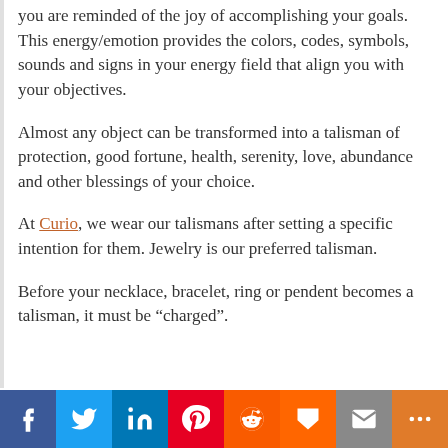you are reminded of the joy of accomplishing your goals. This energy/emotion provides the colors, codes, symbols, sounds and signs in your energy field that align you with your objectives.
Almost any object can be transformed into a talisman of protection, good fortune, health, serenity, love, abundance and other blessings of your choice.
At Curio, we wear our talismans after setting a specific intention for them. Jewelry is our preferred talisman.
Before your necklace, bracelet, ring or pendent becomes a talisman, it must be “charged”.